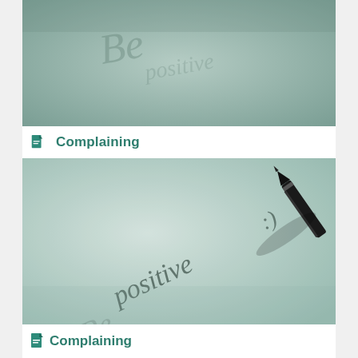[Figure (photo): Close-up photo of a light green/mint paper surface with faded handwritten text 'Be positive' partially visible, with a pen tip in the upper right area writing. Teal/muted green color palette.]
Complaining
[Figure (photo): Close-up photo of a pen writing 'Be positive :)' on a light mint-green paper surface. The pen nib is visible in the upper right corner with its shadow. The handwritten text curves diagonally across the paper.]
Complaining